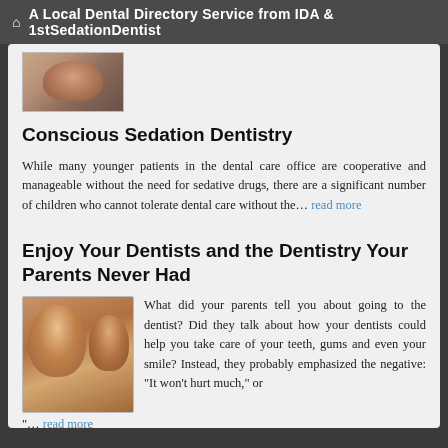A Local Dental Directory Service from IDA & 1stSedationDentist
[Figure (photo): Partial photo of a person at top of content area]
Conscious Sedation Dentistry
While many younger patients in the dental care office are cooperative and manageable without the need for sedative drugs, there are a significant number of children who cannot tolerate dental care without the... read more
Enjoy Your Dentists and the Dentistry Your Parents Never Had
[Figure (photo): Photo of a man and a young girl smiling together]
What did your parents tell you about going to the dentist? Did they talk about how your dentists could help you take care of your teeth, gums and even your smile? Instead, they probably emphasized the negative: "It won't hurt much," or "... read more